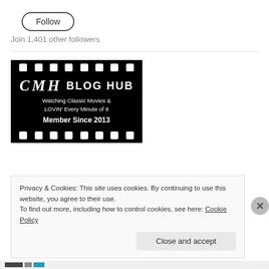[Figure (illustration): A rounded rectangle 'Follow' button with dark border]
Join 1,401 other followers
[Figure (logo): CMH Blog Hub film strip logo — black background with sprocket holes, text: CMH BLOG HUB / Watching Classic Movies & LOVIN' Every Minute of It / Member Since 2013]
Privacy & Cookies: This site uses cookies. By continuing to use this website, you agree to their use. To find out more, including how to control cookies, see here: Cookie Policy
[Figure (illustration): Close and accept button]